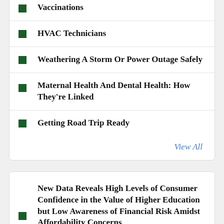Vaccinations
HVAC Technicians
Weathering A Storm Or Power Outage Safely
Maternal Health And Dental Health: How They're Linked
Getting Road Trip Ready
View All
New Data Reveals High Levels of Consumer Confidence in the Value of Higher Education but Low Awareness of Financial Risk Amidst Affordability Concerns